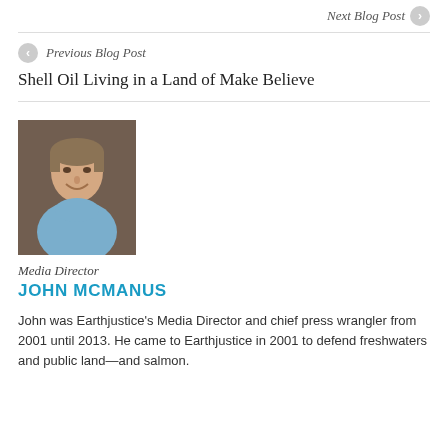Next Blog Post ›
‹ Previous Blog Post
Shell Oil Living in a Land of Make Believe
[Figure (photo): Headshot photo of John McManus, a middle-aged man smiling, wearing a light blue shirt, photographed against a brick wall background.]
Media Director
JOHN MCMANUS
John was Earthjustice's Media Director and chief press wrangler from 2001 until 2013. He came to Earthjustice in 2001 to defend freshwaters and public land—and salmon.